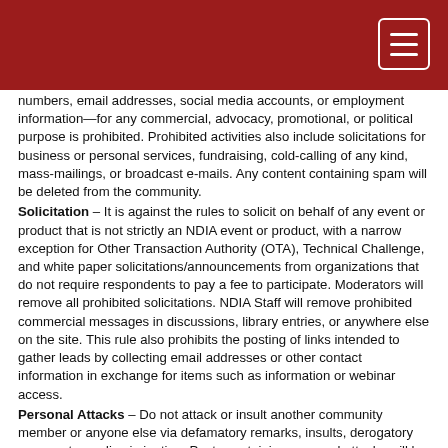numbers, email addresses, social media accounts, or employment information—for any commercial, advocacy, promotional, or political purpose is prohibited. Prohibited activities also include solicitations for business or personal services, fundraising, cold-calling of any kind, mass-mailings, or broadcast e-mails. Any content containing spam will be deleted from the community.
Solicitation – It is against the rules to solicit on behalf of any event or product that is not strictly an NDIA event or product, with a narrow exception for Other Transaction Authority (OTA), Technical Challenge, and white paper solicitations/announcements from organizations that do not require respondents to pay a fee to participate. Moderators will remove all prohibited solicitations. NDIA Staff will remove prohibited commercial messages in discussions, library entries, or anywhere else on the site. This rule also prohibits the posting of links intended to gather leads by collecting email addresses or other contact information in exchange for items such as information or webinar access.
Personal Attacks – Do not attack or insult another community member or anyone else via defamatory remarks, insults, derogatory comments, or discrimination. Posts containing personal attacks will be removed.